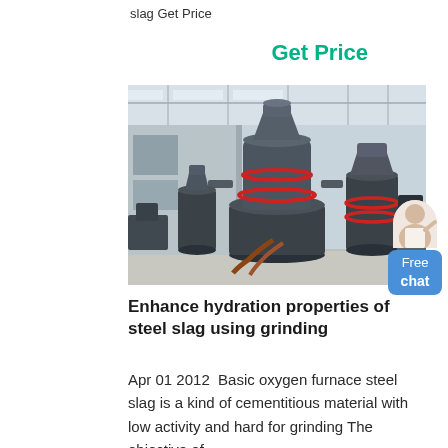slag Get Price
Get Price
[Figure (photo): Industrial grinding mill machinery in a factory setting, showing large dark-colored vertical grinding mills with red accent rings, inside a factory building with steel roof structure]
Enhance hydration properties of steel slag using grinding
Apr 01 2012  Basic oxygen furnace steel slag is a kind of cementitious material with low activity and hard for grinding The objective of